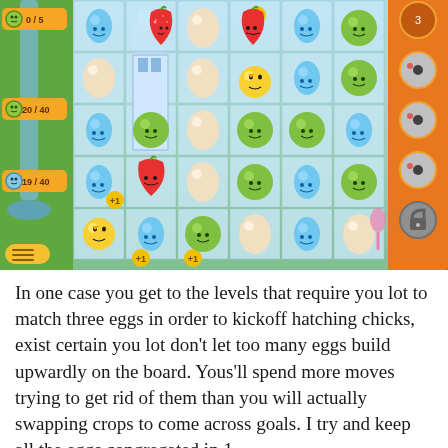[Figure (screenshot): Mobile puzzle game screenshot showing a match-three grid with kawaii-style crops: strawberries, water drops, eggs, green fruits/slimes, and chicks. Left sidebar shows goals: 0/5, 20/40, 19/40. Right side shows locked levels panel. Grid is 6x5 with colorful tiles on a blue-green background.]
In one case you get to the levels that require you lot to match three eggs in order to kickoff hatching chicks, exist certain you lot don't let too many eggs build upwardly on the board. Yous'll spend more moves trying to get rid of them than you will actually swapping crops to come across goals. I try and keep all the eggs congregated in 1